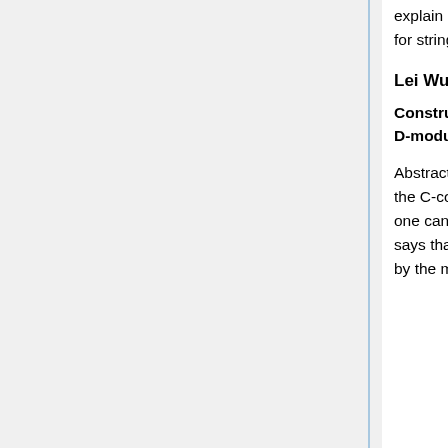explain how this framework applies to the search for a cohomological interpretation for stringy Hodge numbers. This talk is based on joint work with Matthew Satriano.
Lei Wu
Constructibility of Log de Rham Complexes for Lattices of Regular Holonomic D-modules
Abstract: In the classical Hodge theory, the de Rham complex is quasi-isomorphic to the C-constant sheaf on a complex manifold X. Fixing a normal crossing divisor on X, one can construct the logarithmic (log) de Rham complex. Grothendieck comparison says that the log de Rham complex is quasi-isomorphic to the perverse sheaf given by the maximal extension of the constant